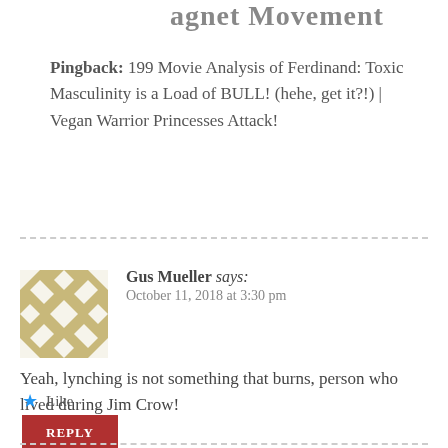…agnet Movement
Pingback: 199 Movie Analysis of Ferdinand: Toxic Masculinity is a Load of BULL! (hehe, get it?!) | Vegan Warrior Princesses Attack!
Gus Mueller says:
October 11, 2018 at 3:30 pm

Yeah, lynching is not something that burns, person who lived during Jim Crow!
Like
REPLY